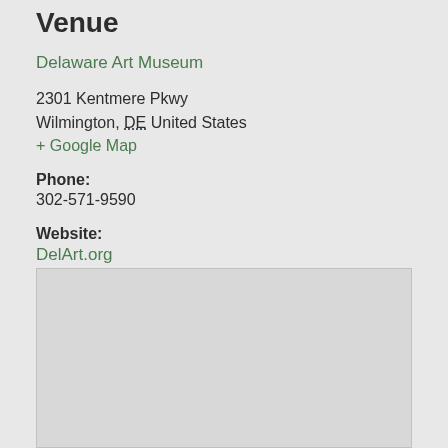Venue
Delaware Art Museum
2301 Kentmere Pkwy
Wilmington, DE United States
+ Google Map
Phone:
302-571-9590
Website:
DelArt.org
[Figure (map): Embedded Google Map showing location of Delaware Art Museum, displayed as a light gray placeholder box]